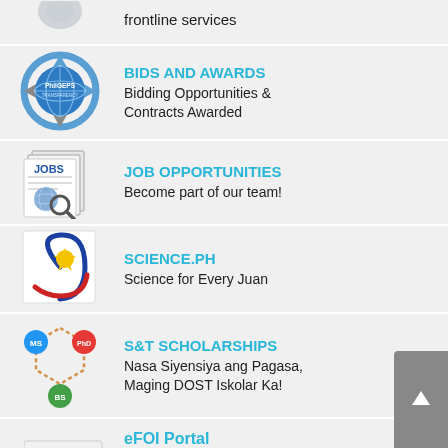[Figure (logo): Partial image of a logo at top of page]
frontline services
[Figure (logo): PhilGEPS transparency seal logo - circular blue globe with arrows]
BIDS AND AWARDS
Bidding Opportunities & Contracts Awarded
[Figure (logo): Jobs newspaper with magnifying glass icon]
JOB OPPORTUNITIES
Become part of our team!
[Figure (logo): DOST Science.ph logo with sun and Philippine flag colors]
SCIENCE.PH
Science for Every Juan
[Figure (logo): S&T Scholarships hexagon molecule diagram with MS, BS, PhD badges]
S&T SCHOLARSHIPS
Nasa Siyensiya ang Pagasa, Maging DOST Iskolar Ka!
[Figure (logo): eFOI Portal logo text image]
eFOI Portal
Electronic Freedom of Information Portal